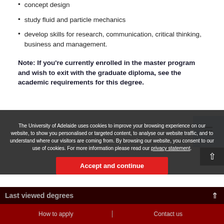concept design
study fluid and particle mechanics
develop skills for research, communication, critical thinking, business and management.
Note: If you're currently enrolled in the master program and wish to exit with the graduate diploma, see the academic requirements for this degree.
[Figure (other): Cookie consent overlay with text: The University of Adelaide uses cookies to improve your browsing experience on our website, to show you personalised or targeted content, to analyse our website traffic, and to understand where our visitors are coming from. By browsing our website, you consent to our use of cookies. For more information please read our privacy statement. Button: Accept and continue]
Ranked #48 in the World for Computer Science and Engineering
How to apply    Contact us